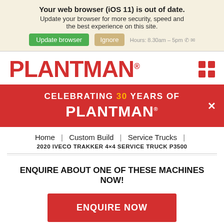Your web browser (iOS 11) is out of date. Update your browser for more security, speed and the best experience on this site. [Update browser] [Ignore]
[Figure (logo): PLANTMAN logo in red bold text with registered trademark symbol, and a red 2x2 grid icon on the right]
[Figure (infographic): Red banner: CELEBRATING 30 YEARS OF PLANTMAN with a close X button on the right]
Home | Custom Build | Service Trucks | 2020 IVECO TRAKKER 4×4 SERVICE TRUCK P3500
ENQUIRE ABOUT ONE OF THESE MACHINES NOW!
ENQUIRE NOW